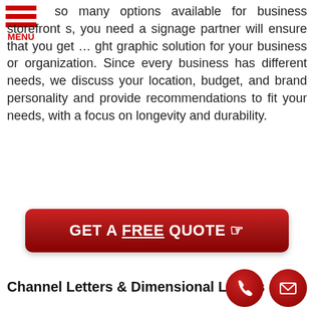[Figure (other): Red hamburger menu icon with three horizontal bars and 'MENU' label in red]
so many options available for business storefront s, you need a signage partner will ensure that you get … ght graphic solution for your business or organization. Since every business has different needs, we discuss your location, budget, and brand personality and provide recommendations to fit your needs, with a focus on longevity and durability.
[Figure (other): Red rounded rectangle button with white bold text: GET A FREE QUOTE with a pointing hand cursor icon]
Channel Letters & Dimensional Letters
[Figure (other): Two red circle contact icons in bottom right: phone handset icon and envelope/mail icon]